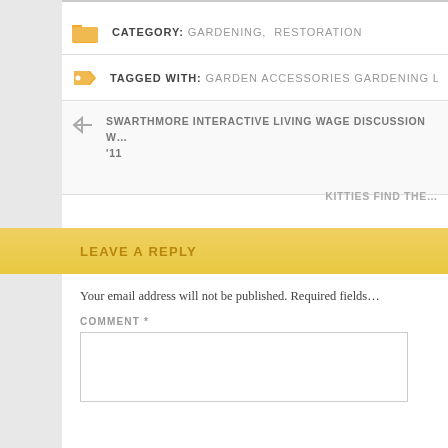CATEGORY: GARDENING, RESTORATION
TAGGED WITH: GARDEN ACCESSORIES GARDENING LAWNOR…
SWARTHMORE INTERACTIVE LIVING WAGE DISCUSSION W… '11
KITTIES FIND THE…
LEAVE A REPLY
Your email address will not be published. Required fields…
COMMENT *